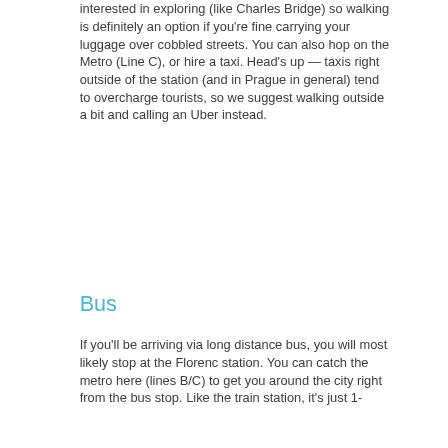interested in exploring (like Charles Bridge) so walking is definitely an option if you're fine carrying your luggage over cobbled streets. You can also hop on the Metro (Line C), or hire a taxi. Head's up — taxis right outside of the station (and in Prague in general) tend to overcharge tourists, so we suggest walking outside a bit and calling an Uber instead.
Bus
If you'll be arriving via long distance bus, you will most likely stop at the Florenc station. You can catch the metro here (lines B/C) to get you around the city right from the bus stop. Like the train station, it's just 1-